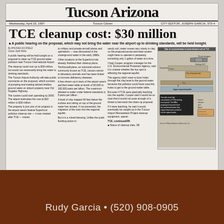[Figure (photo): Scanned newspaper front page from Tucson Citizen, Wednesday April 23, 1997. Headline: TCE cleanup cost: $30 million. Article about TCE ground-water pollution near Tucson International Airport. Includes a diagram showing contaminated soil site at TIA with aquifer layers.]
1,296 total views,  1 views today
Rudy Garcia • (520) 908-0905